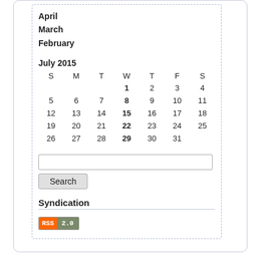April
March
February
| S | M | T | W | T | F | S |
| --- | --- | --- | --- | --- | --- | --- |
|  |  |  | 1 | 2 | 3 | 4 |
| 5 | 6 | 7 | 8 | 9 | 10 | 11 |
| 12 | 13 | 14 | 15 | 16 | 17 | 18 |
| 19 | 20 | 21 | 22 | 23 | 24 | 25 |
| 26 | 27 | 28 | 29 | 30 | 31 |  |
Search
Syndication
[Figure (other): RSS 2.0 badge]